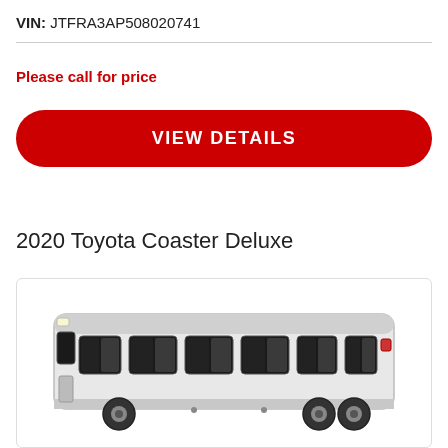VIN: JTFRA3AP508020741
Please call for price
VIEW DETAILS
2020 Toyota Coaster Deluxe
[Figure (photo): Side profile photo of a white Toyota Coaster Deluxe minibus/coach with dark windows and red accent at the bottom, shown against a white background inside a rounded rectangle border.]